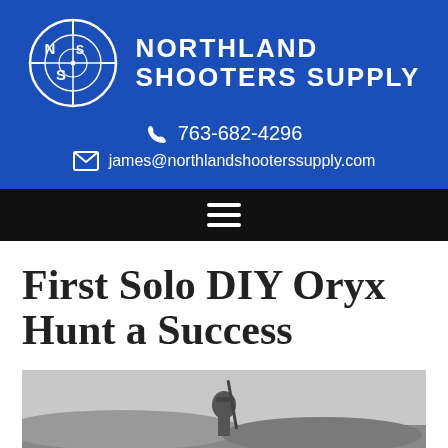[Figure (logo): Northland Shooters Supply logo: circular crosshair scope sight with N, S letters inside, blue background header with company name and contact info]
763-682-4296
james@northlandshooterssupply.com
First Solo DIY Oryx Hunt a Success
[Figure (photo): Black and white photo of a hunter in the field, partial view showing person with cap and rifle in outdoor/desert terrain]